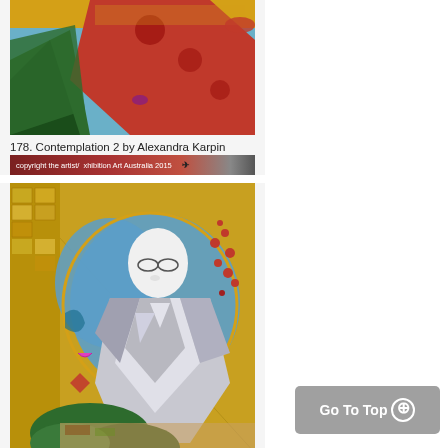[Figure (illustration): Artwork: Contemplation 2 by Alexandra Karpin – colorful painting with red, green and decorative patterns]
178. Contemplation 2 by Alexandra Karpin
[Figure (illustration): Artwork: Contemplation 3 by Alexandra Karpin – mixed media collage featuring a face surrounded by geometric silver shapes, blue cloud form, gold mosaic background, green foliage]
179. Contemplation 3 by Alexandra Karpin